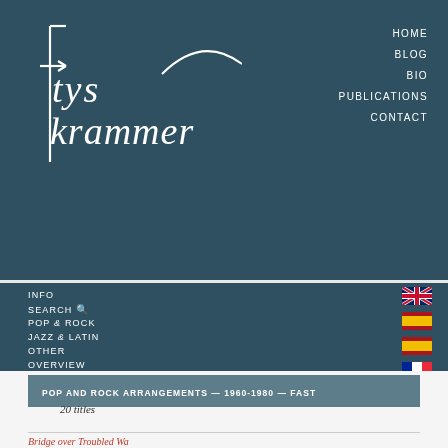[Figure (logo): Handwritten-style white logo text 'tys krammer' with decorative bracket and flourish on dark teal background]
HOME
BLOG
BIO
PUBLICATIONS
CONTACT
INFO
SEARCH
POP & ROCK
JAZZ & LATIN
OTHER
OVERVIEW
POP AND ROCK ARRANGEMENTS — 1960-1980 — FAST
20 titles
Bridge over Troubled Water